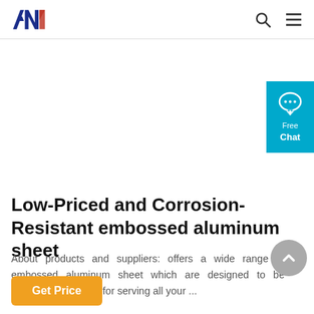ANN logo, search icon, menu icon
[Figure (other): Free Chat widget — cyan button with chat bubble icon, text 'Free Chat']
Low-Priced and Corrosion-Resistant embossed aluminum sheet
About products and suppliers: offers a wide range of embossed aluminum sheet which are designed to be multipurpose and fit for serving all your ...
[Figure (other): Scroll-to-top circular grey button with upward chevron arrow]
Get Price